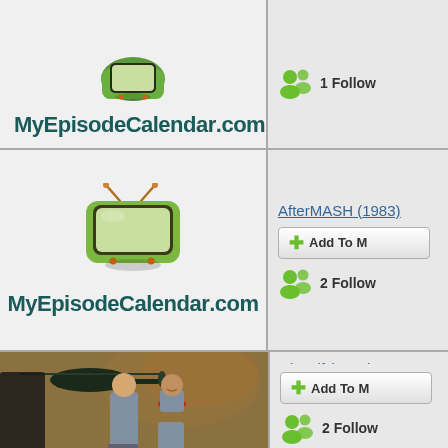[Figure (screenshot): MyEpisodeCalendar.com logo with retro TV icon, top entry (partial, first row)]
MyEpisodeCalendar.com
1 Follow
[Figure (screenshot): AfterMASH (1983) listing with MyEpisodeCalendar.com logo]
AfterMASH (1983)
Add To M
2 Follow
MyEpisodeCalendar.com
[Figure (screenshot): Airwolf (1984) listing with promotional photo showing actors and helicopter]
Airwolf (1984)
Add To M
2 Follow